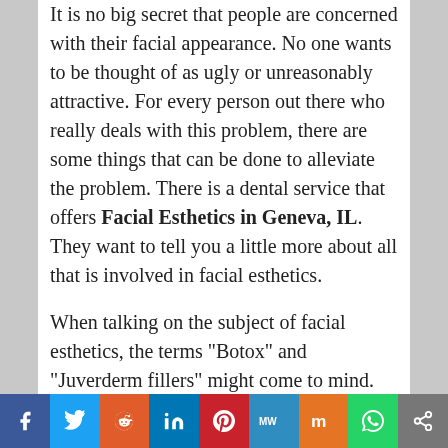It is no big secret that people are concerned with their facial appearance. No one wants to be thought of as ugly or unreasonably attractive. For every person out there who really deals with this problem, there are some things that can be done to alleviate the problem. There is a dental service that offers Facial Esthetics in Geneva, IL. They want to tell you a little more about all that is involved in facial esthetics.
When talking on the subject of facial esthetics, the terms "Botox" and "Juverderm fillers" might come to mind. Many people are aware of Botox injections. Juverderm fillers might not be such a common term to the average layperson. But,
[Figure (infographic): Social media sharing bar with icons for Facebook, Twitter, Reddit, LinkedIn, Pinterest, MeWe, Mix, WhatsApp, and Share]